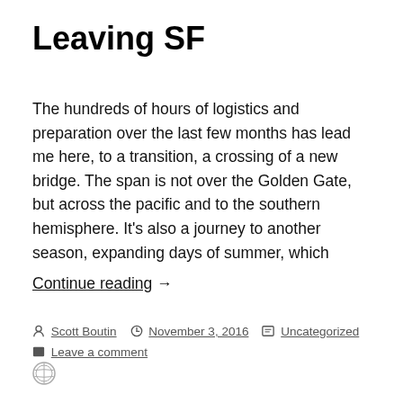Leaving SF
The hundreds of hours of logistics and preparation over the last few months has lead me here, to a transition, a crossing of a new bridge. The span is not over the Golden Gate, but across the pacific and to the southern hemisphere. It’s also a journey to another season, expanding days of summer, which
Continue reading →
Scott Boutin  November 3, 2016  Uncategorized  Leave a comment
[Figure (logo): WordPress logo icon]